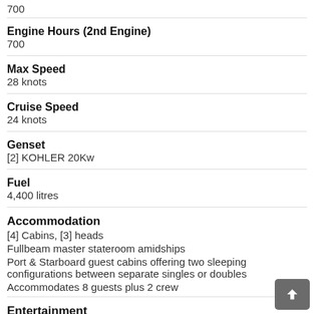700
Engine Hours (2nd Engine)
700
Max Speed
28 knots
Cruise Speed
24 knots
Genset
[2] KOHLER 20Kw
Fuel
4,400 litres
Accommodation
[4] Cabins, [3] heads
Fullbeam master stateroom amidships
Port & Starboard guest cabins offering two sleeping configurations between separate singles or doubles
Accommodates 8 guests plus 2 crew
Entertainment
BOSE Sound System